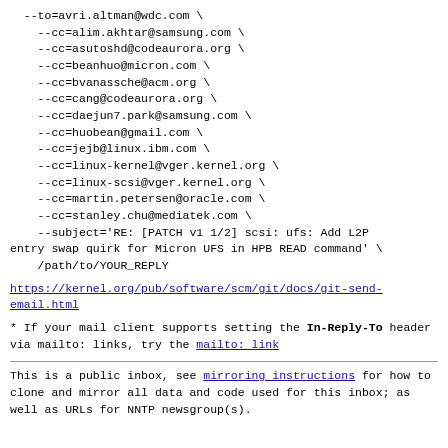--to=avri.altman@wdc.com \
    --cc=alim.akhtar@samsung.com \
    --cc=asutoshd@codeaurora.org \
    --cc=beanhuo@micron.com \
    --cc=bvanassche@acm.org \
    --cc=cang@codeaurora.org \
    --cc=daejun7.park@samsung.com \
    --cc=huobean@gmail.com \
    --cc=jejb@linux.ibm.com \
    --cc=linux-kernel@vger.kernel.org \
    --cc=linux-scsi@vger.kernel.org \
    --cc=martin.petersen@oracle.com \
    --cc=stanley.chu@mediatek.com \
    --subject='RE: [PATCH v1 1/2] scsi: ufs: Add L2P entry swap quirk for Micron UFS in HPB READ command' \
    /path/to/YOUR_REPLY
https://kernel.org/pub/software/scm/git/docs/git-send-email.html
* If your mail client supports setting the In-Reply-To header
  via mailto: links, try the mailto: link
This is a public inbox, see mirroring instructions
for how to clone and mirror all data and code used for
this inbox;
as well as URLs for NNTP newsgroup(s).